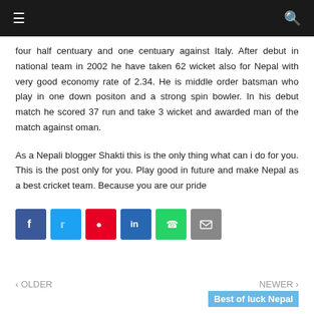≡  [site header]  🔍
four half centuary and one centuary against Italy. After debut in national team in 2002 he have taken 62 wicket also for Nepal with very good economy rate of 2.34. He is middle order batsman who play in one down positon and a strong spin bowler. In his debut match he scored 37 run and take 3 wicket and awarded man of the match against oman.
As a Nepali blogger Shakti this is the only thing what can i do for you. This is the post only for you. Play good in future and make Nepal as a best cricket team. Because you are our pride
[Figure (other): Social share icons: Facebook, Twitter, Pinterest, LinkedIn, WhatsApp, Email]
‹ OLDER    NEWER › Best of luck Nepal